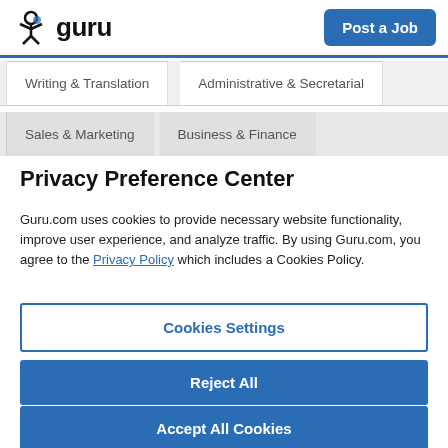guru | Post a Job
Writing & Translation | Administrative & Secretarial
Sales & Marketing | Business & Finance
Privacy Preference Center
Guru.com uses cookies to provide necessary website functionality, improve user experience, and analyze traffic. By using Guru.com, you agree to the Privacy Policy which includes a Cookies Policy.
Cookies Settings
Reject All
Accept All Cookies